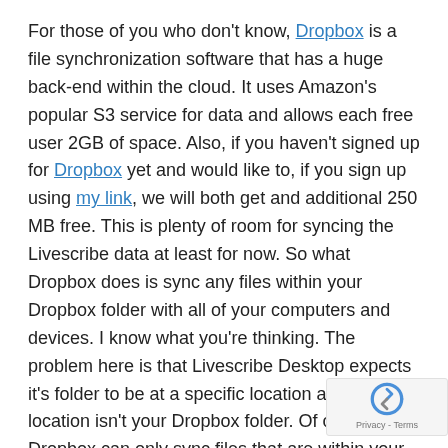For those of you who don't know, Dropbox is a file synchronization software that has a huge back-end within the cloud. It uses Amazon's popular S3 service for data and allows each free user 2GB of space. Also, if you haven't signed up for Dropbox yet and would like to, if you sign up using my link, we will both get and additional 250 MB free. This is plenty of room for syncing the Livescribe data at least for now. So what Dropbox does is sync any files within your Dropbox folder with all of your computers and devices. I know what you're thinking. The problem here is that Livescribe Desktop expects it's folder to be at a specific location and that location isn't your Dropbox folder. Of course, Dropbox can only sync files that are within your Dropbox Folder and the Livescribe Data folder certainly isn't there...
So then here's the solution! It's called symlinks. Symlink is short for Symbolic Link. Now what does Symbolic Link